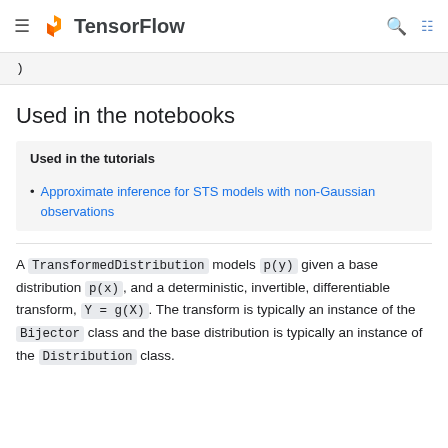TensorFlow
)
Used in the notebooks
| Used in the tutorials |
| --- |
Approximate inference for STS models with non-Gaussian observations
A TransformedDistribution models p(y) given a base distribution p(x), and a deterministic, invertible, differentiable transform, Y = g(X). The transform is typically an instance of the Bijector class and the base distribution is typically an instance of the Distribution class.